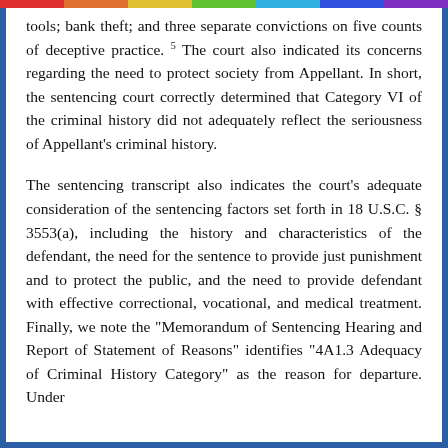tools; bank theft; and three separate convictions on five counts of deceptive practice. 5 The court also indicated its concerns regarding the need to protect society from Appellant. In short, the sentencing court correctly determined that Category VI of the criminal history did not adequately reflect the seriousness of Appellant's criminal history.
The sentencing transcript also indicates the court's adequate consideration of the sentencing factors set forth in 18 U.S.C. § 3553(a), including the history and characteristics of the defendant, the need for the sentence to provide just punishment and to protect the public, and the need to provide defendant with effective correctional, vocational, and medical treatment. Finally, we note the "Memorandum of Sentencing Hearing and Report of Statement of Reasons" identifies "4A1.3 Adequacy of Criminal History Category" as the reason for departure. Under